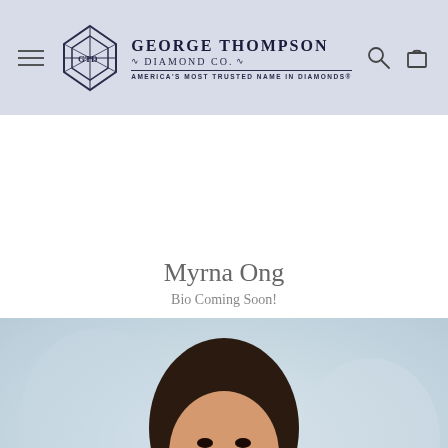George Thompson Diamond Co. — America's Most Trusted Name in Diamonds
Myrna Ong
Bio Coming Soon!
[Figure (photo): Professional headshot of Myrna Ong, a woman with long dark hair, smiling, against a light blurred background]